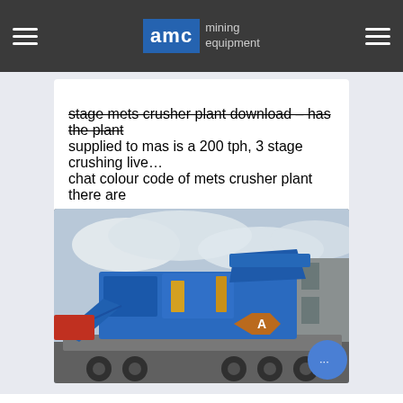AMC mining equipment
stage mets crusher plant download – has the plant supplied to mas is a 200 tph, 3 stage crushing live... chat colour code of mets crusher plant there are
[Figure (photo): A large blue mobile crushing plant / mining machine loaded on a flatbed truck at an industrial yard, with a warehouse building visible in the background.]